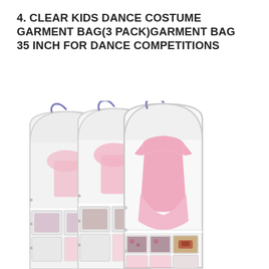4. CLEAR KIDS DANCE COSTUME GARMENT BAG(3 PACK)GARMENT BAG 35 INCH FOR DANCE COMPETITIONS
[Figure (photo): Three clear kids dance costume garment bags with multiple pockets, showing pink dance costumes hanging inside and dance accessories in the pockets, with purple hangers.]